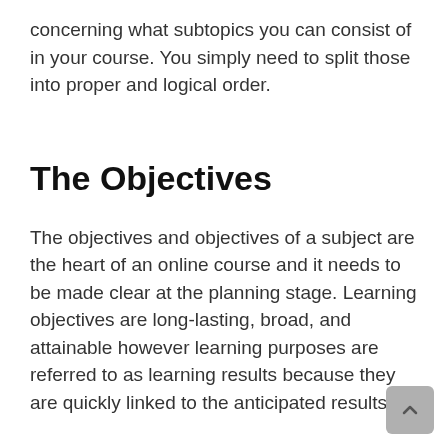concerning what subtopics you can consist of in your course. You simply need to split those into proper and logical order.
The Objectives
The objectives and objectives of a subject are the heart of an online course and it needs to be made clear at the planning stage. Learning objectives are long-lasting, broad, and attainable however learning purposes are referred to as learning results because they are quickly linked to the anticipated results.